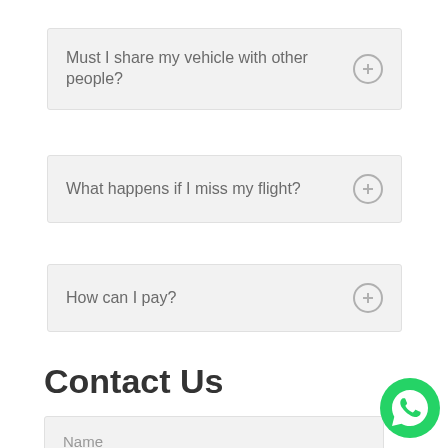Must I share my vehicle with other people?
What happens if I miss my flight?
How can I pay?
Contact Us
Name